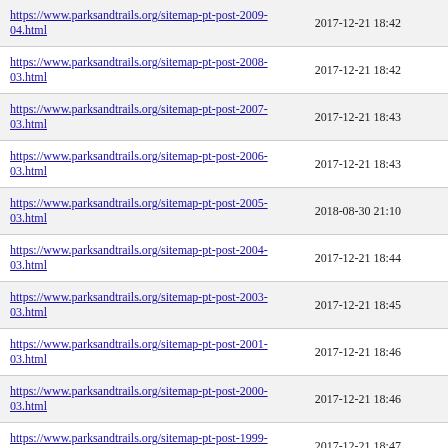| URL | Last Modified |
| --- | --- |
| https://www.parksandtrails.org/sitemap-pt-post-2009-04.html | 2017-12-21 18:42 |
| https://www.parksandtrails.org/sitemap-pt-post-2008-03.html | 2017-12-21 18:42 |
| https://www.parksandtrails.org/sitemap-pt-post-2007-03.html | 2017-12-21 18:43 |
| https://www.parksandtrails.org/sitemap-pt-post-2006-03.html | 2017-12-21 18:43 |
| https://www.parksandtrails.org/sitemap-pt-post-2005-03.html | 2018-08-30 21:10 |
| https://www.parksandtrails.org/sitemap-pt-post-2004-03.html | 2017-12-21 18:44 |
| https://www.parksandtrails.org/sitemap-pt-post-2003-03.html | 2017-12-21 18:45 |
| https://www.parksandtrails.org/sitemap-pt-post-2001-03.html | 2017-12-21 18:46 |
| https://www.parksandtrails.org/sitemap-pt-post-2000-03.html | 2017-12-21 18:46 |
| https://www.parksandtrails.org/sitemap-pt-post-1999-03.html | 2017-12-21 18:47 |
| https://www.parksandtrails.org/sitemap-pt-post-1998-03.html | 2017-12-21 18:47 |
| https://www.parksandtrails.org/sitemap-pt-post-1997-03.html | 2017-12-21 18:48 |
| https://www.parksandtrails.org/sitemap-pt-post-1996-03.html | 2017-12-21 18:49 |
| https://www.parksandtrails.org/sitemap-pt-post-1995-03.html | 2017-12-21 18:49 |
| https://www.parksandtrails.org/sitemap-pt-page-2022-06.html | 2022-08-08 17:20 |
| https://www.parksandtrails.org/sitemap-pt-page-2022-05.html | 2022-08-19 15:33 |
| https://www.parksandtrails.org/sitemap-pt-page-2022-04.html | 2022-08-22 16:50 |
| https://www.parksandtrails.org/sitemap-pt-page-2022-03.html | 2022-05-09 15:10 |
| https://www.parksandtrails.org/sitemap-pt-page-2022-02.html | 2022-07-01 20:01 |